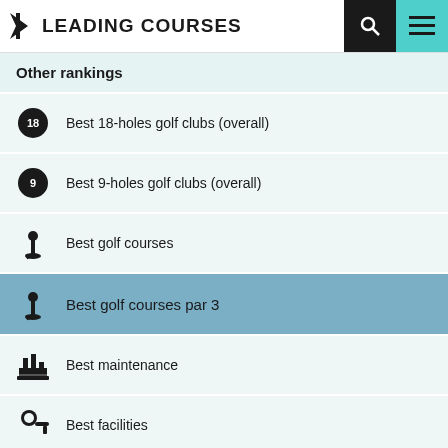LEADING COURSES
Other rankings
Best 18-holes golf clubs (overall)
Best 9-holes golf clubs (overall)
Best golf courses
Best golf courses par 3
Best maintenance
Best facilities
Most hospitable golf club
Best value for money